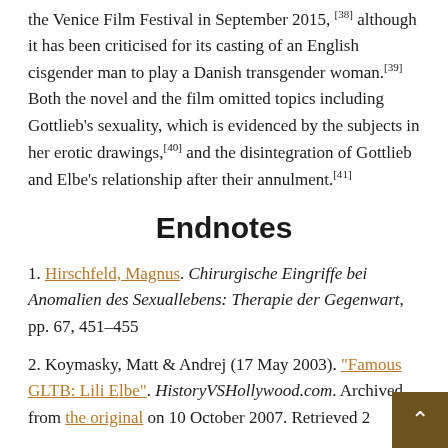the Venice Film Festival in September 2015, [38] although it has been criticised for its casting of an English cisgender man to play a Danish transgender woman.[39] Both the novel and the film omitted topics including Gottlieb's sexuality, which is evidenced by the subjects in her erotic drawings,[40] and the disintegration of Gottlieb and Elbe's relationship after their annulment.[41]
Endnotes
1. Hirschfeld, Magnus. Chirurgische Eingriffe bei Anomalien des Sexuallebens: Therapie der Gegenwart, pp. 67, 451–455
2. Koymasky, Matt & Andrej (17 May 2003). "Famous GLTB: Lili Elbe". HistoryVSHollywood.com. Archived from the original on 10 October 2007. Retrieved 2